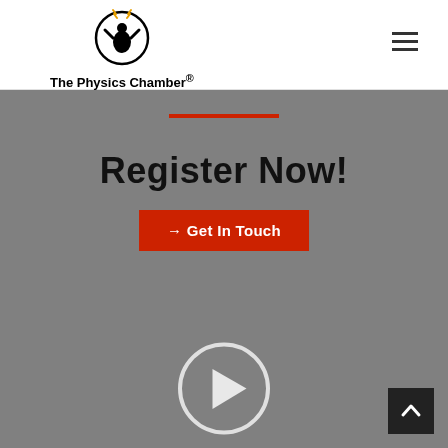[Figure (logo): The Physics Chamber logo: circular emblem with person figure raising arms, small yellow lightning bolts above, with text 'The Physics Chamber®' below]
[Figure (other): Hamburger menu icon (three horizontal lines) in top right corner]
[Figure (other): Red horizontal divider line centered on gray background]
Register Now!
→ Get In Touch
[Figure (other): Play button circle icon centered near bottom of gray section]
[Figure (other): Back to top button (dark square with up arrow) in bottom right]